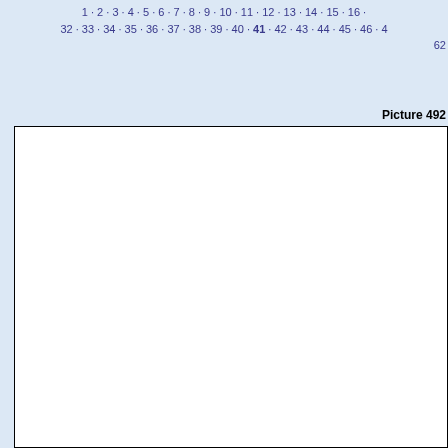1 · 2 · 3 · 4 · 5 · 6 · 7 · 8 · 9 · 10 · 11 · 12 · 13 · 14 · 15 · 16 · 32 · 33 · 34 · 35 · 36 · 37 · 38 · 39 · 40 · 41 · 42 · 43 · 44 · 45 · 46 · 62
Picture 492
[Figure (other): Large white rectangular image area with a black border, content not visible]